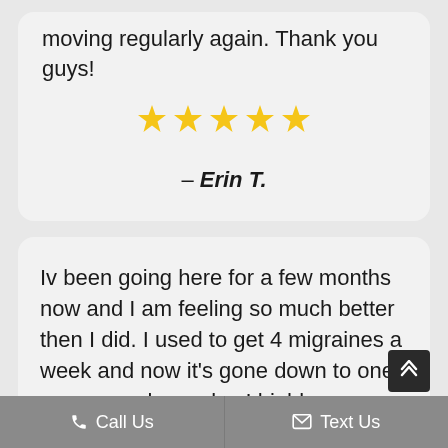moving regularly again. Thank you guys!
[Figure (other): Five gold star rating icons]
– Erin T.
Iv been going here for a few months now and I am feeling so much better then I did. I used to get 4 migraines a week and now it's gone down to one every couple weeks. I highly recomme...
Call Us   Text Us